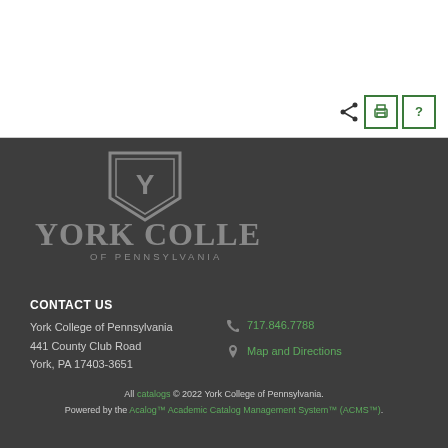[Figure (logo): York College of Pennsylvania logo with shield and Y emblem, gray on dark background]
CONTACT US
York College of Pennsylvania
441 County Club Road
York, PA 17403-3651
717.846.7788
Map and Directions
All catalogs © 2022 York College of Pennsylvania. Powered by the Acalog™ Academic Catalog Management System™ (ACMS™).